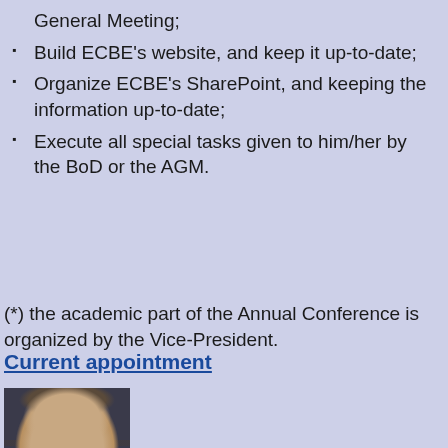General Meeting;
Build ECBE's website, and keep it up-to-date;
Organize ECBE's SharePoint, and keeping the information up-to-date;
Execute all special tasks given to him/her by the BoD or the AGM.
(*) the academic part of the Annual Conference is organized by the Vice-President.
Current appointment
[Figure (photo): Headshot photo of a bald middle-aged man wearing glasses and a suit with tie]